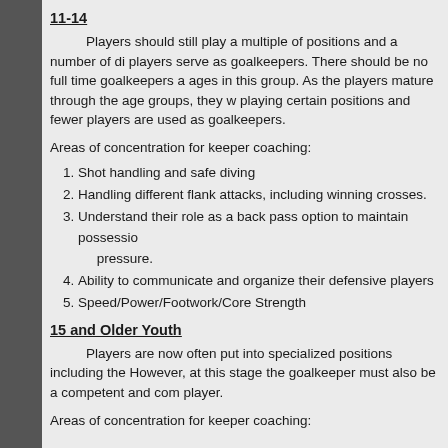11-14
Players should still play a multiple of positions and a number of di players serve as goalkeepers. There should be no full time goalkeepers a ages in this group. As the players mature through the age groups, they w playing certain positions and fewer players are used as goalkeepers.
Areas of concentration for keeper coaching:
Shot handling and safe diving
Handling different flank attacks, including winning crosses.
Understand their role as a back pass option to maintain possessio pressure.
Ability to communicate and organize their defensive players
Speed/Power/Footwork/Core Strength
15 and Older Youth
Players are now often put into specialized positions including the However, at this stage the goalkeeper must also be a competent and co player.
Areas of concentration for keeper coaching: